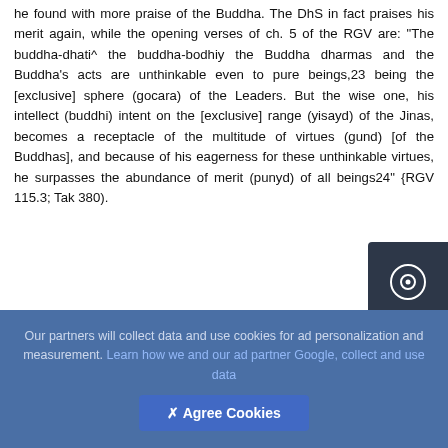he found with more praise of the Buddha. The DhS in fact praises his merit again, while the opening verses of ch. 5 of the RGV are: "The buddha-dhati^ the buddha-bodhiy the Buddha dharmas and the Buddha's acts are unthinkable even to pure beings,23 being the [exclusive] sphere (gocara) of the Leaders. But the wise one, his intellect (buddhi) intent on the [exclusive] range (yisayd) of the Jinas, becomes a receptacle of the multitude of virtues (gund) [of the Buddhas], and because of his eagerness for these unthinkable virtues, he surpasses the abundance of merit (punyd) of all beings24" {RGV 115.3; Tak 380).
264
Our partners will collect data and use cookies for ad personalization and measurement. Learn how we and our ad partner Google, collect and use data